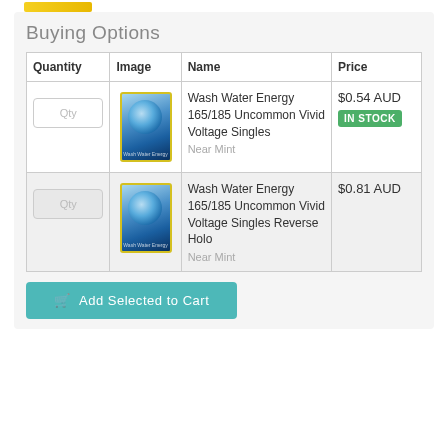Buying Options
| Quantity | Image | Name | Price |
| --- | --- | --- | --- |
| Qty | [card image] | Wash Water Energy 165/185 Uncommon Vivid Voltage Singles
Near Mint | $0.54 AUD
IN STOCK |
| Qty | [card image] | Wash Water Energy 165/185 Uncommon Vivid Voltage Singles Reverse Holo
Near Mint | $0.81 AUD |
Add Selected to Cart